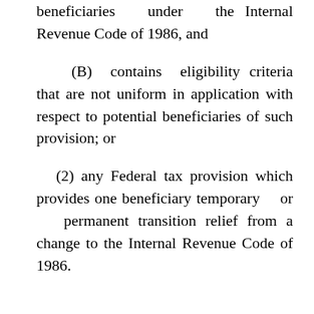beneficiaries under the Internal Revenue Code of 1986, and
(B) contains eligibility criteria that are not uniform in application with respect to potential beneficiaries of such provision; or
(2) any Federal tax provision which provides one beneficiary temporary or permanent transition relief from a change to the Internal Revenue Code of 1986.